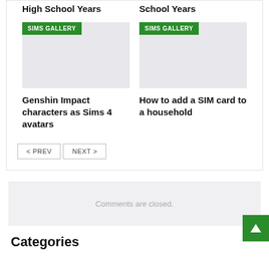High School Years
School Years
[Figure (screenshot): Gray placeholder image with SIMS GALLERY green badge, left card]
[Figure (screenshot): Gray placeholder image with SIMS GALLERY green badge, right card]
Genshin Impact characters as Sims 4 avatars
How to add a SIM card to a household
< PREV   NEXT >
Comments are closed.
Categories